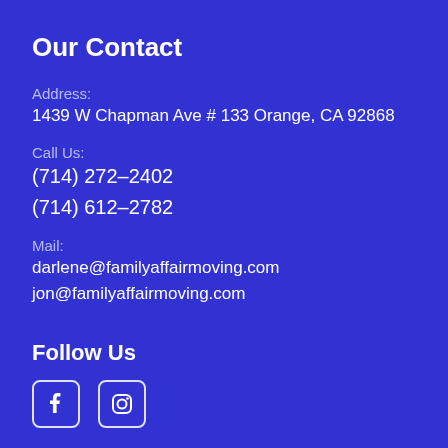Our Contact
Address: 1439 W Chapman Ave # 133 Orange, CA 92868
Call Us:
(714) 272-2402
(714) 612-2782
Mail:
darlene@familyaffairmoving.com
jon@familyaffairmoving.com
Follow Us
[Figure (other): Facebook and Instagram social media icons (white, rounded square borders)]